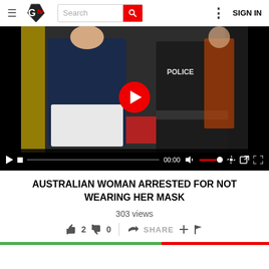GTV | Search | SIGN IN
[Figure (screenshot): Video player showing a woman in a dark top and a police officer in a shopping area. Controls bar at bottom showing 00:00 timestamp and playback controls.]
AUSTRALIAN WOMAN ARRESTED FOR NOT WEARING HER MASK
303 views
2  0  SHARE